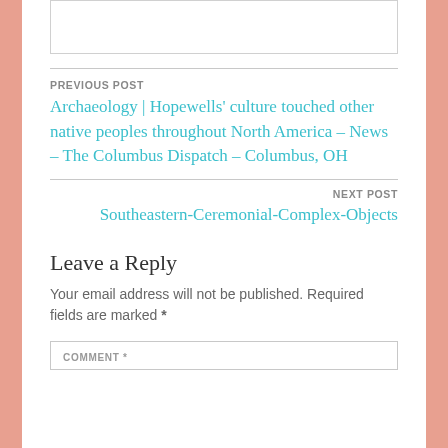[Figure (other): Top bordered box (partial image area at top of page)]
PREVIOUS POST
Archaeology | Hopewells' culture touched other native peoples throughout North America – News – The Columbus Dispatch – Columbus, OH
NEXT POST
Southeastern-Ceremonial-Complex-Objects
Leave a Reply
Your email address will not be published. Required fields are marked *
COMMENT *